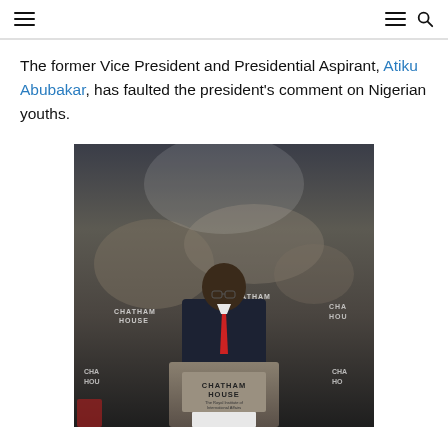Navigation header with hamburger menu icons and search icon
The former Vice President and Presidential Aspirant, Atiku Abubakar, has faulted the president's comment on Nigerian youths.
[Figure (photo): Atiku Abubakar standing at a Chatham House podium in front of a world map backdrop with multiple CHATHAM HOUSE signs, wearing a dark suit and red tie]